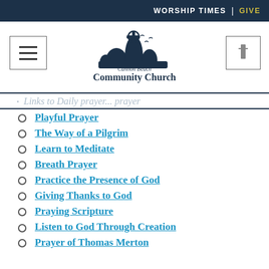WORSHIP TIMES | GIVE
[Figure (logo): Cannon Beach Community Church logo with rock formation, cross, and seagulls]
Links to Daily prayer (faded/background)
Playful Prayer
The Way of a Pilgrim
Learn to Meditate
Breath Prayer
Practice the Presence of God
Giving Thanks to God
Praying Scripture
Listen to God Through Creation
Prayer of Thomas Merton